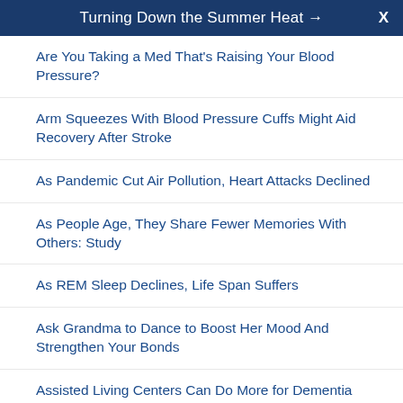Turning Down the Summer Heat →  X
Are You Taking a Med That's Raising Your Blood Pressure?
Arm Squeezes With Blood Pressure Cuffs Might Aid Recovery After Stroke
As Pandemic Cut Air Pollution, Heart Attacks Declined
As People Age, They Share Fewer Memories With Others: Study
As REM Sleep Declines, Life Span Suffers
Ask Grandma to Dance to Boost Her Mood And Strengthen Your Bonds
Assisted Living Centers Can Do More for Dementia Patients, Experts Say
Asthma, Allergies Raise Heart Risks, Too